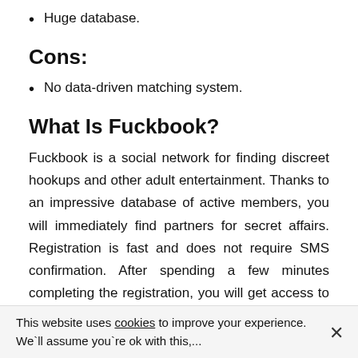Huge database.
Cons:
No data-driven matching system.
What Is Fuckbook?
Fuckbook is a social network for finding discreet hookups and other adult entertainment. Thanks to an impressive database of active members, you will immediately find partners for secret affairs. Registration is fast and does not require SMS confirmation. After spending a few minutes completing the registration, you will get access to all the free features of the platform. Unlike most discreet platforms like Fuckbook, you don't need to complete a profile here. If you are seeking sex dating partners, then Fuckbook will help you at this.
This website uses cookies to improve your experience. We`ll assume you`re ok with this,...